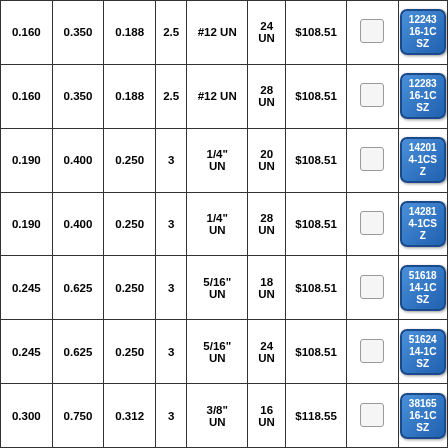| 0.160 | 0.350 | 0.188 | 2.5 | #12 UN | 24 UN | $108.51 |  | 12243 16-1C SZ |
| 0.160 | 0.350 | 0.188 | 2.5 | #12 UN | 28 UN | $108.51 |  | 12283 16-1C SZ |
| 0.190 | 0.400 | 0.250 | 3 | 1/4" UN | 20 UN | $108.51 |  | 14201 4-1CS Z |
| 0.190 | 0.400 | 0.250 | 3 | 1/4" UN | 28 UN | $108.51 |  | 14281 4-1CS Z |
| 0.245 | 0.625 | 0.250 | 3 | 5/16" UN | 18 UN | $108.51 |  | 51618 14-1C SZ |
| 0.245 | 0.625 | 0.250 | 3 | 5/16" UN | 24 UN | $108.51 |  | 51624 14-1C SZ |
| 0.300 | 0.750 | 0.312 | 3 | 3/8" UN | 16 UN | $118.55 |  | 38165 16-1C SZ |